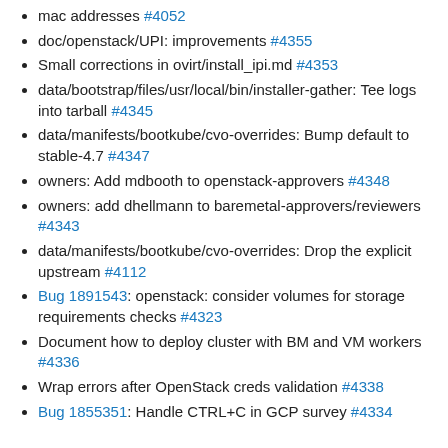mac addresses #4052
doc/openstack/UPI: improvements #4355
Small corrections in ovirt/install_ipi.md #4353
data/bootstrap/files/usr/local/bin/installer-gather: Tee logs into tarball #4345
data/manifests/bootkube/cvo-overrides: Bump default to stable-4.7 #4347
owners: Add mdbooth to openstack-approvers #4348
owners: add dhellmann to baremetal-approvers/reviewers #4343
data/manifests/bootkube/cvo-overrides: Drop the explicit upstream #4112
Bug 1891543: openstack: consider volumes for storage requirements checks #4323
Document how to deploy cluster with BM and VM workers #4336
Wrap errors after OpenStack creds validation #4338
Bug 1855351: Handle CTRL+C in GCP survey #4334